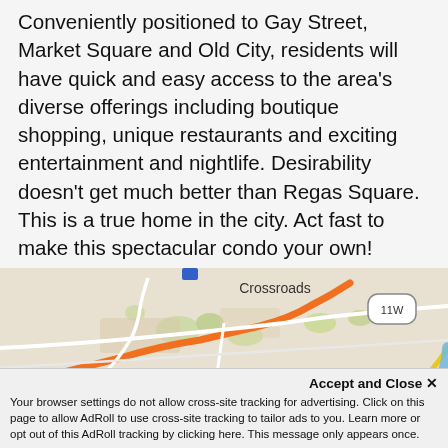Conveniently positioned to Gay Street, Market Square and Old City, residents will have quick and easy access to the area's diverse offerings including boutique shopping, unique restaurants and exciting entertainment and nightlife. Desirability doesn't get much better than Regas Square. This is a true home in the city. Act fast to make this spectacular condo your own! Multipe Units available from $340,900-$2,000,000 . See agent for details!
[Figure (map): Street/road map showing Crossroads area with route 11W marker, roads in orange/yellow/white, river in blue, green patches]
Accept and Close ×
Your browser settings do not allow cross-site tracking for advertising. Click on this page to allow AdRoll to use cross-site tracking to tailor ads to you. Learn more or opt out of this AdRoll tracking by clicking here. This message only appears once.